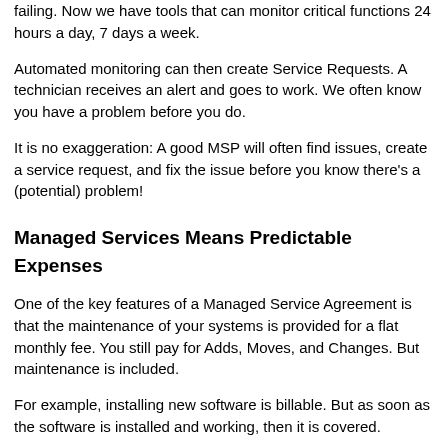failing. Now we have tools that can monitor critical functions 24 hours a day, 7 days a week.
Automated monitoring can then create Service Requests. A technician receives an alert and goes to work. We often know you have a problem before you do.
It is no exaggeration: A good MSP will often find issues, create a service request, and fix the issue before you know there's a (potential) problem!
Managed Services Means Predictable Expenses
One of the key features of a Managed Service Agreement is that the maintenance of your systems is provided for a flat monthly fee. You still pay for Adds, Moves, and Changes. But maintenance is included.
For example, installing new software is billable. But as soon as the software is installed and working, then it is covered.